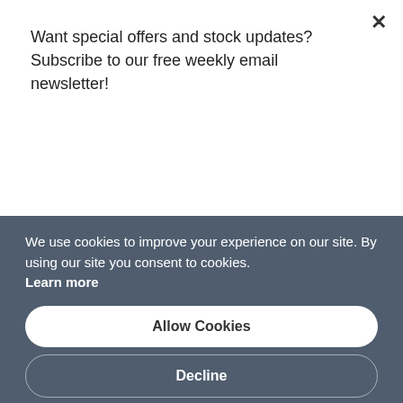Want special offers and stock updates? Subscribe to our free weekly email newsletter!
Subscribe
[Figure (photo): Dahua PTZ dome security camera, white body with black base, Dahua logo visible]
We use cookies to improve your experience on our site. By using our site you consent to cookies. Learn more
Allow Cookies
Decline